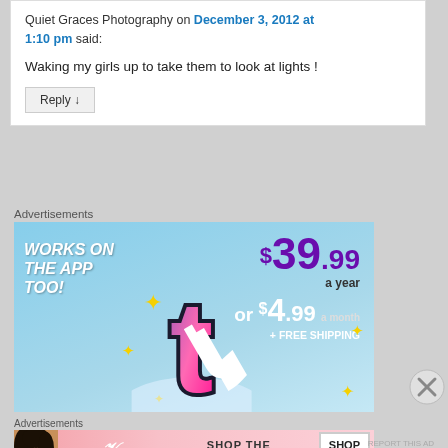Quiet Graces Photography on December 3, 2012 at 1:10 pm said:
Waking my girls up to take them to look at lights !
Reply ↓
Advertisements
[Figure (infographic): Ad banner: WORKS ON THE APP TOO! $39.99 a year or $4.99 a month + FREE SHIPPING. Tumblr logo with sparkle stars on blue sky background.]
Advertisements
[Figure (infographic): Victoria's Secret ad: SHOP THE COLLECTION SHOP NOW]